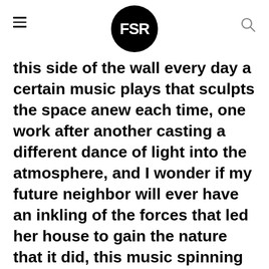FSR
this side of the wall every day a certain music plays that sculpts the space anew each time, one work after another casting a different dance of light into the atmosphere, and I wonder if my future neighbor will ever have an inkling of the forces that led her house to gain the nature that it did, this music spinning out its own fleeting structures like plants we hadn't seen before, shaping the air that was here on this side of the